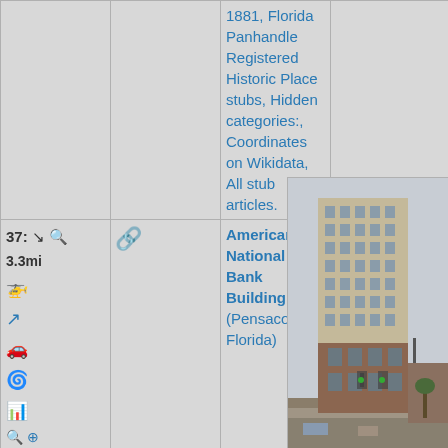|  |  |  | Categories | Photo |
| --- | --- | --- | --- | --- |
|  |  |  | 1881, Florida Panhandle Registered Historic Place stubs, Hidden categories:, Coordinates on Wikidata, All stub articles. |  |
| 37: 3.3mi [icons] | [link icon] | American National Bank Building (Pensacola, Florida) | Defunct banks of the United States, Buildings and structures in Pensacola, Florida, National Register of Historic Places in Escambia County, Florida, Bank buildings on the National Register of Historic Places in Florida, Chicago school | [photo of tall building] |